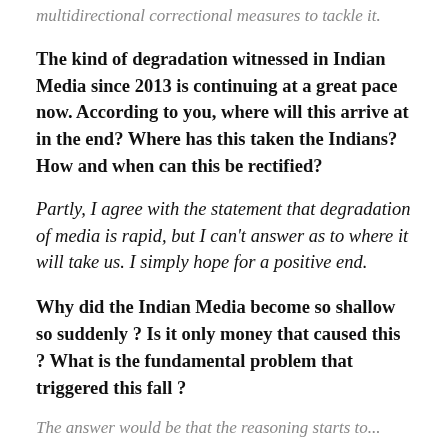multidirectional correctional measures to tackle it.
The kind of degradation witnessed in Indian Media since 2013 is continuing at a great pace now. According to you, where will this arrive at in the end? Where has this taken the Indians? How and when can this be rectified?
Partly, I agree with the statement that degradation of media is rapid, but I can't answer as to where it will take us. I simply hope for a positive end.
Why did the Indian Media become so shallow so suddenly ? Is it only money that caused this ? What is the fundamental problem that triggered this fall ?
The answer would be that the reasoning starts to...